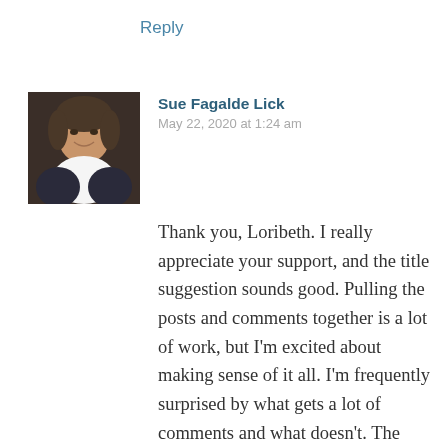Reply
[Figure (photo): Profile photo of a woman smiling, wearing a dark patterned jacket]
Sue Fagalde Lick
May 22, 2020 at 1:24 am
Thank you, Loribeth. I really appreciate your support, and the title suggestion sounds good. Pulling the posts and comments together is a lot of work, but I’m excited about making sense of it all. I’m frequently surprised by what gets a lot of comments and what doesn’t. The posts I think will light a fire just sit there while something that seems ordinary to me sets off a storm of comments.